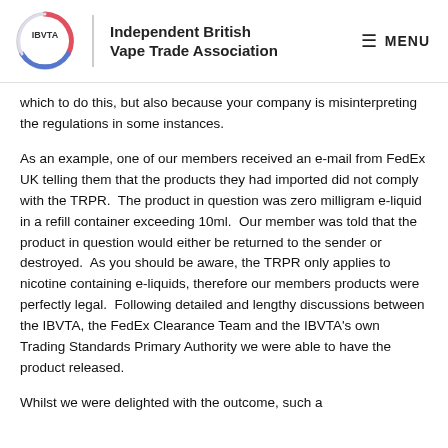Independent British Vape Trade Association | MENU
which to do this, but also because your company is misinterpreting the regulations in some instances.
As an example, one of our members received an e-mail from FedEx UK telling them that the products they had imported did not comply with the TRPR.  The product in question was zero milligram e-liquid in a refill container exceeding 10ml.  Our member was told that the product in question would either be returned to the sender or destroyed.  As you should be aware, the TRPR only applies to nicotine containing e-liquids, therefore our members products were perfectly legal.  Following detailed and lengthy discussions between the IBVTA, the FedEx Clearance Team and the IBVTA's own Trading Standards Primary Authority we were able to have the product released.
Whilst we were delighted with the outcome, such a